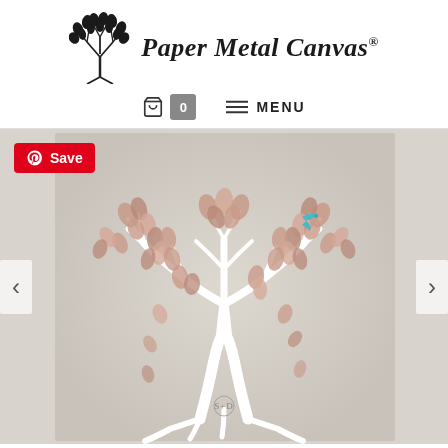[Figure (logo): Paper Metal Canvas logo with decorative tree illustration on the left and cursive/script brand name text on the right]
[Figure (screenshot): Website navigation bar with shopping cart icon showing badge '0' and hamburger menu icon with 'MENU' text]
[Figure (photo): Product image of a tree of life artwork on canvas with rose gold/blush pink leaves, white branches, a small teal bird, and initials 'S+D' at the base. A red Pinterest 'Save' button overlay is in the top left. Left and right navigation arrows are visible on the sides.]